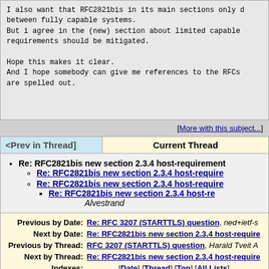I also want that RFC2821bis in its main sections only d between fully capable systems.
But i agree in the (new) section about limited capable requirements should be mitigated.

Hope this makes it clear.
And I hope somebody can give me references to the RFCs are spelled out.
[More with this subject...]
| <Prev in Thread] | Current Thread |
| --- | --- |
Re: RFC2821bis new section 2.3.4 host-requirement
Re: RFC2821bis new section 2.3.4 host-require
Re: RFC2821bis new section 2.3.4 host-require
Re: RFC2821bis new section 2.3.4 host-re
Alvestrand
| Previous by Date: | Next by Date: | Previous by Thread: | Next by Thread: | Indexes: |
| --- | --- | --- | --- | --- |
| Re: RFC 3207 (STARTTLS) question | ned+ietf-s |
| Re: RFC2821bis new section 2.3.4 host-require |  |
| RFC 3207 (STARTTLS) question | Harald Tveit A |
| Re: RFC2821bis new section 2.3.4 host-require |  |
| [Date] [Thread] [Top] [All Lists] |  |